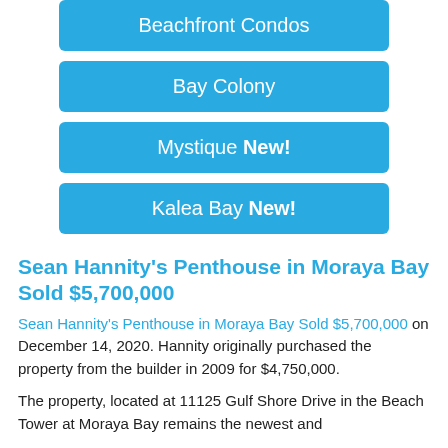Beachfront Condos
Bay Colony
Mystique New!
Kalea Bay New!
Sean Hannity's Penthouse in Moraya Bay Sold $5,700,000
Sean Hannity's Penthouse in Moraya Bay Sold $5,700,000 on December 14, 2020. Hannity originally purchased the property from the builder in 2009 for $4,750,000.
The property, located at 11125 Gulf Shore Drive in the Beach Tower at Moraya Bay remains the newest and